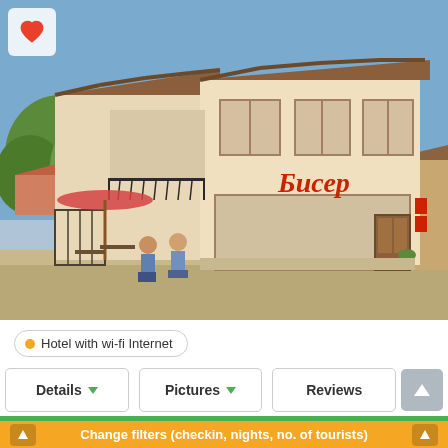[Figure (photo): Exterior photo of a two-story hotel/guesthouse building with white walls, wooden trim, a balcony with black iron railing, large shop windows at ground level with Cyrillic script signage, outdoor umbrella seating area on the left, and people sitting outside. Blue sky background.]
Hotel with wi-fi Internet
Details
Pictures
Reviews
Change filters (checkin, nights, no. of tourists)